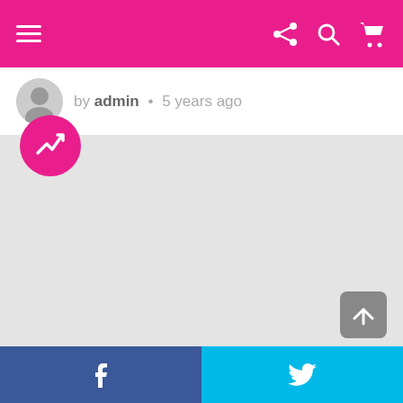[Figure (screenshot): Pink navigation bar with hamburger menu on the left and share, search, and cart icons on the right]
by admin • 5 years ago
[Figure (infographic): BuzzFeed-style pink circular badge with trending arrow icon overlaid on a large light gray content area image placeholder, with a scroll-to-top button in the bottom right]
[Figure (infographic): Bottom social sharing bar with Facebook button on left (dark blue) and Twitter button on right (light blue)]